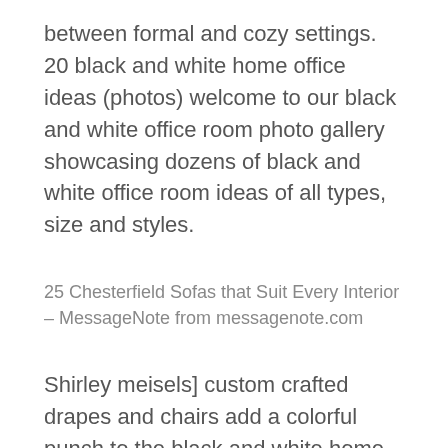between formal and cozy settings. 20 black and white home office ideas (photos) welcome to our black and white office room photo gallery showcasing dozens of black and white office room ideas of all types, size and styles.
25 Chesterfield Sofas that Suit Every Interior – MessageNote from messagenote.com
Shirley meisels] custom crafted drapes and chairs add a colorful punch to the black and white home office [design: 28/05/2019 · a gallery wall full of black and white photos, prints or artwork is perhaps one of the